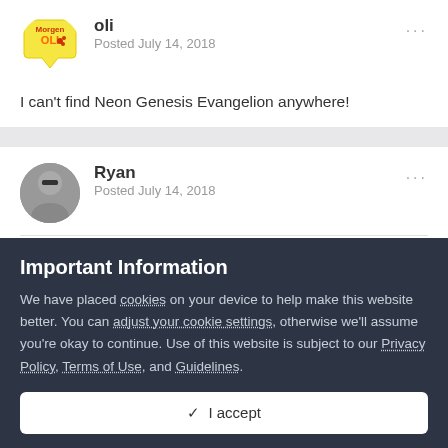oli
Posted July 14, 2018
I can't find Neon Genesis Evangelion anywhere!
Ryan
Posted July 14, 2018
I'd recommend watching these too, they're all rated 10/10 in my
Important Information
We have placed cookies on your device to help make this website better. You can adjust your cookie settings, otherwise we'll assume you're okay to continue. Use of this website is subject to our Privacy Policy, Terms of Use, and Guidelines.
✓ I accept